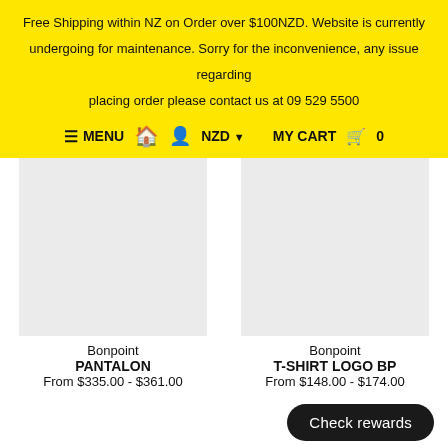Free Shipping within NZ on Order over $100NZD. Website is currently undergoing for maintenance. Sorry for the inconvenience, any issue regarding placing order please contact us at 09 529 5500
☰ MENU  🏠  👤  NZD ▾  MY CART 🛒 0
[Figure (photo): Light gray product image placeholder for Bonpoint PANTALON]
Bonpoint
PANTALON
From $335.00 - $361.00
[Figure (photo): Light gray product image placeholder for Bonpoint T-SHIRT LOGO BP]
Bonpoint
T-SHIRT LOGO BP
From $148.00 - $174.00
Check rewards